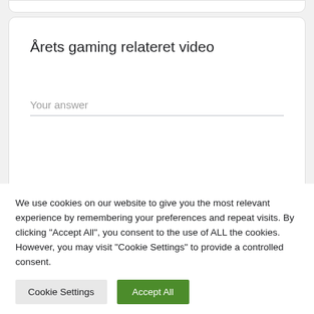Årets gaming relateret video
Your answer
Har du nogen forslag til showet? Ingen idé er for lille eller for stor
We use cookies on our website to give you the most relevant experience by remembering your preferences and repeat visits. By clicking "Accept All", you consent to the use of ALL the cookies. However, you may visit "Cookie Settings" to provide a controlled consent.
Cookie Settings
Accept All